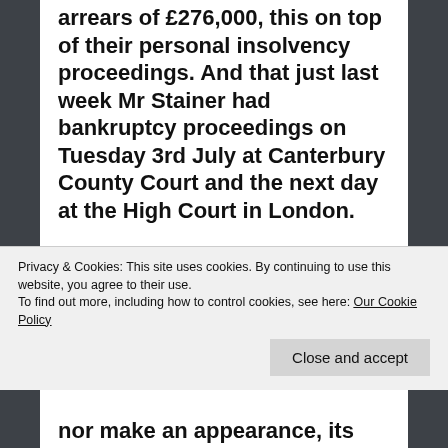unpaid judgement debt for arrears of £276,000, this on top of their personal insolvency proceedings. And that just last week Mr Stainer had bankruptcy proceedings on Tuesday 3rd July at Canterbury County Court and the next day at the High Court in London.
So what did AORG seek in its application that it didn't get?
Privacy & Cookies: This site uses cookies. By continuing to use this website, you agree to their use.
To find out more, including how to control cookies, see here: Our Cookie Policy
nor make an appearance, its